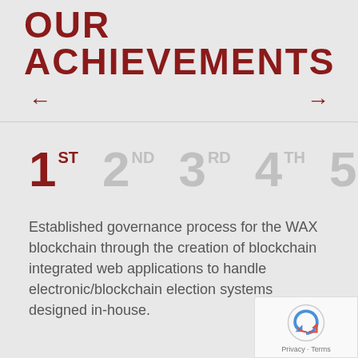OUR ACHIEVEMENTS
[Figure (infographic): Navigation arrows (left and right) for a carousel of achievements]
[Figure (infographic): Ordinal number indicators: 1ST (active, dark red), 2ND, 3RD, 4TH, 5TH (inactive, light gray)]
Established governance process for the WAX blockchain through the creation of blockchain integrated web applications to handle electronic/blockchain election systems designed in-house.
[Figure (logo): reCAPTCHA badge in bottom-right corner with Privacy and Terms links]